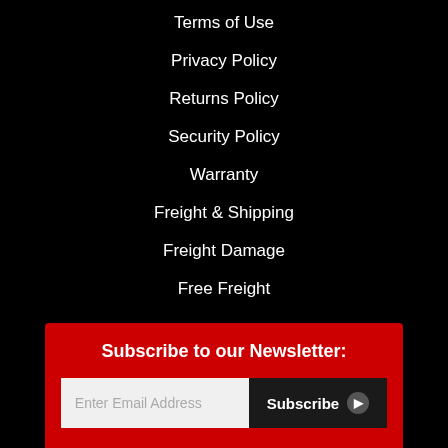Terms of Use
Privacy Policy
Returns Policy
Security Policy
Warranty
Freight & Shipping
Freight Damage
Free Freight
Subscribe to our Newsletter:
Enter Email Address
Subscribe